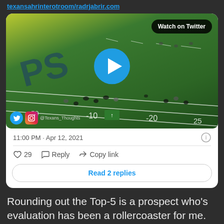texansahrinterotroom/radrjabrir.com
[Figure (screenshot): Embedded tweet card showing a football field video thumbnail with a play button and 'Watch on Twitter' badge. Social icons (Twitter and Instagram) and handle '@Texans_Thoughts' visible at bottom left.]
11:00 PM · Apr 12, 2021
29  Reply  Copy link
Read 2 replies
Rounding out the Top-5 is a prospect who's evaluation has been a rollercoaster for me. Starting at NDSU, Jabril was extremely productive and one of